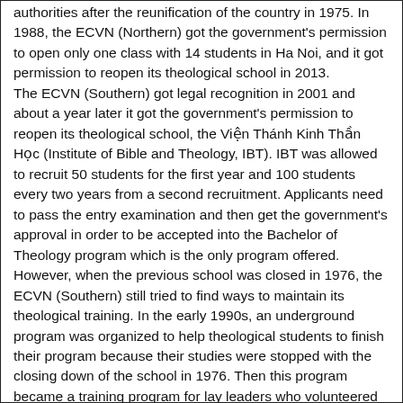authorities after the reunification of the country in 1975. In 1988, the ECVN (Northern) got the government's permission to open only one class with 14 students in Ha Noi, and it got permission to reopen its theological school in 2013. The ECVN (Southern) got legal recognition in 2001 and about a year later it got the government's permission to reopen its theological school, the Viện Thánh Kinh Thần Học (Institute of Bible and Theology, IBT). IBT was allowed to recruit 50 students for the first year and 100 students every two years from a second recruitment. Applicants need to pass the entry examination and then get the government's approval in order to be accepted into the Bachelor of Theology program which is the only program offered. However, when the previous school was closed in 1976, the ECVN (Southern) still tried to find ways to maintain its theological training. In the early 1990s, an underground program was organized to help theological students to finish their program because their studies were stopped with the closing down of the school in 1976. Then this program became a training program for lay leaders who volunteered to serve as the heads of worship service